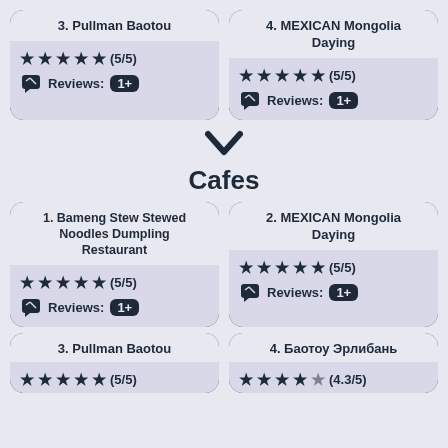[Figure (infographic): Card for ranking 3. Pullman Baotou with 5/5 stars and 1+ reviews]
[Figure (infographic): Card for ranking 4. MEXICAN Mongolia Daying with 5/5 stars and 1+ reviews]
[Figure (infographic): Arrow pointing down indicating continuation]
Cafes
[Figure (infographic): Card for ranking 1. Bameng Stew Stewed Noodles Dumpling Restaurant with 5/5 stars and 1+ reviews]
[Figure (infographic): Card for ranking 2. MEXICAN Mongolia Daying with 5/5 stars and 1+ reviews]
[Figure (infographic): Card for ranking 3. Pullman Baotou with 5/5 stars (partially visible)]
[Figure (infographic): Card for ranking 4. Баотоу Эрлибань with 4.3/5 stars (partially visible)]